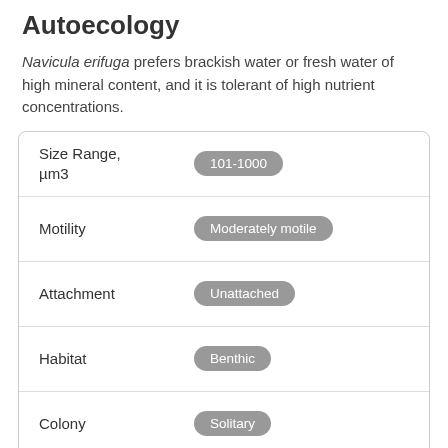Autoecology
Navicula erifuga prefers brackish water or fresh water of high mineral content, and it is tolerant of high nutrient concentrations.
| Property | Value |
| --- | --- |
| Size Range, µm3 | 101-1000 |
| Motility | Moderately motile |
| Attachment | Unattached |
| Habitat | Benthic |
| Colony | Solitary |
| Occurrence | Rare |
| BCG | BCG 5 |